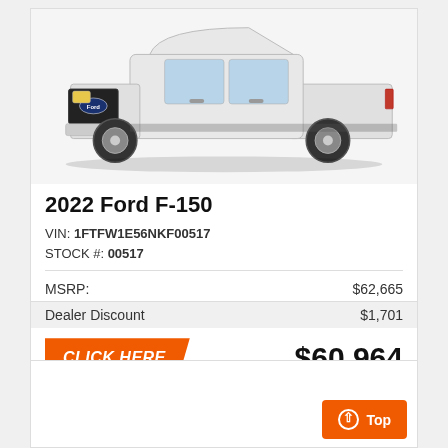[Figure (photo): White 2022 Ford F-150 pickup truck shown from front-right angle on white background]
2022 Ford F-150
VIN: 1FTFW1E56NKF00517
STOCK #: 00517
| MSRP: | $62,665 |
| Dealer Discount | $1,701 |
CLICK HERE   $60,964
[Figure (screenshot): Partial second vehicle card with Top navigation button]